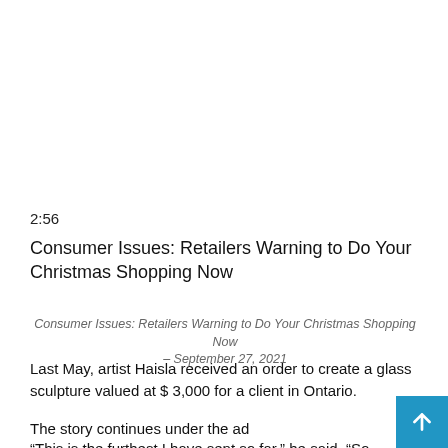2:56
Consumer Issues: Retailers Warning to Do Your Christmas Shopping Now
Consumer Issues: Retailers Warning to Do Your Christmas Shopping Now – September 27, 2021
Last May, artist Haisla received an order to create a glass sculpture valued at $ 3,000 for a client in Ontario.
The story continues under the ad
“This is the furthest I have sent so far,” he said. “So for someone